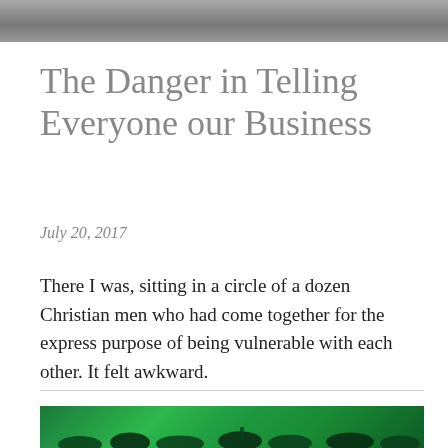[Figure (photo): Partial top photo, grayscale, cropped at top of page]
The Danger in Telling Everyone our Business
July 20, 2017
There I was, sitting in a circle of a dozen Christian men who had come together for the express purpose of being vulnerable with each other. It felt awkward.
[Figure (photo): Concert/worship crowd scene lit with green stage lighting, people with hands raised]